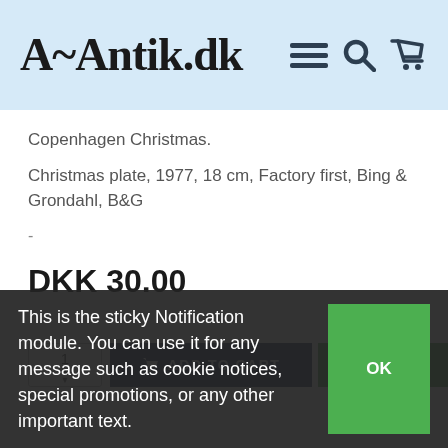A-Antik.dk
Copenhagen Christmas.
Christmas plate, 1977, 18 cm, Factory first, Bing & Grondahl, B&G
-
DKK 30.00
This is the sticky Notification module. You can use it for any message such as cookie notices, special promotions, or any other important text.